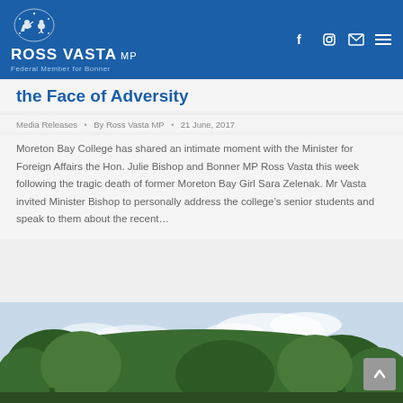ROSS VASTA MP — Federal Member for Bonner
the Face of Adversity
Media Releases • By Ross Vasta MP • 21 June, 2017
Moreton Bay College has shared an intimate moment with the Minister for Foreign Affairs the Hon. Julie Bishop and Bonner MP Ross Vasta this week following the tragic death of former Moreton Bay Girl Sara Zelenak. Mr Vasta invited Minister Bishop to personally address the college's senior students and speak to them about the recent...
[Figure (photo): Outdoor photo showing treetops against a partly cloudy sky]